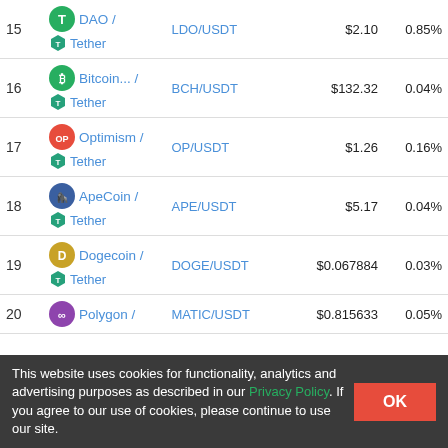| # | Name | Pair | Price | Change |
| --- | --- | --- | --- | --- |
| 15 | DAO / Tether | LDO/USDT | $2.10 | 0.85% |
| 16 | Bitcoin... / Tether | BCH/USDT | $132.32 | 0.04% |
| 17 | Optimism / Tether | OP/USDT | $1.26 | 0.16% |
| 18 | ApeCoin / Tether | APE/USDT | $5.17 | 0.04% |
| 19 | Dogecoin / Tether | DOGE/USDT | $0.067884 | 0.03% |
| 20 | Polygon / Tether | MATIC/USDT | $0.815633 | 0.05% |
This website uses cookies for functionality, analytics and advertising purposes as described in our Privacy Policy. If you agree to our use of cookies, please continue to use our site.